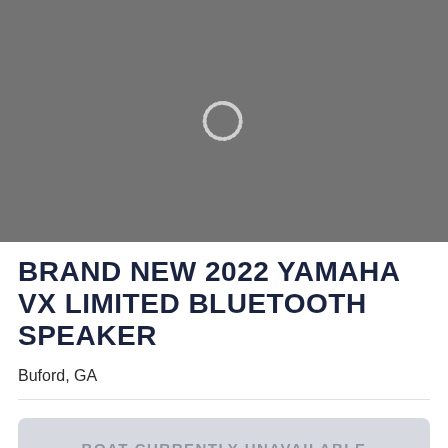[Figure (screenshot): Gray placeholder image area with a loading spinner icon (arc/circle) centered in the gray box]
BRAND NEW 2022 YAMAHA VX LIMITED BLUETOOTH SPEAKER
Buford, GA
BOAT CURRENTLY UNAVAILABLE